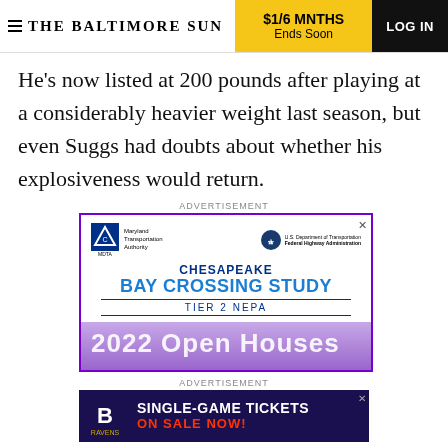THE BALTIMORE SUN | $1/6 MNTHS Ends Soon | LOG IN
He's now listed at 200 pounds after playing at a considerably heavier weight last season, but even Suggs had doubts about whether his explosiveness would return.
ADVERTISEMENT
[Figure (infographic): Chesapeake Bay Crossing Study Tier 2 NEPA advertisement with Maryland Transportation Authority and Federal Highway Administration logos, and 2022 Open Houses text]
ADVERTISEMENT
[Figure (infographic): Baltimore Ravens Single-Game Tickets On Sale Now advertisement]